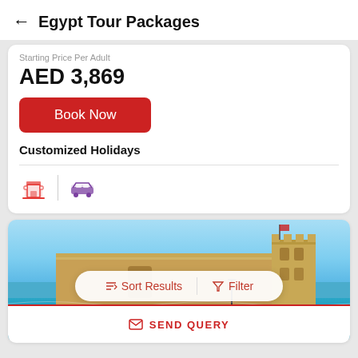Egypt Tour Packages
Starting Price Per Adult
AED 3,869
Book Now
Customized Holidays
[Figure (photo): Photo of a historic coastal fortress (Qaitbay Citadel, Alexandria, Egypt) with turquoise water in foreground and blue sky above]
Sort Results
Filter
SEND QUERY